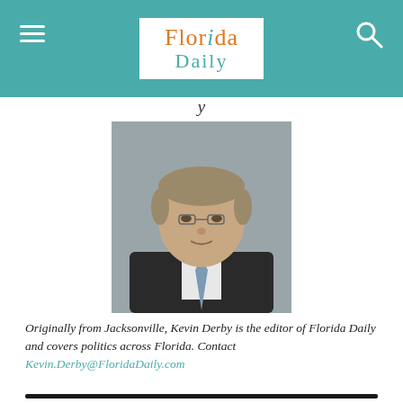Florida Daily
[Figure (photo): Headshot of Kevin Derby, editor of Florida Daily, wearing a dark suit and tie, grey background]
Originally from Jacksonville, Kevin Derby is the editor of Florida Daily and covers politics across Florida. Contact Kevin.Derby@FloridaDaily.com
Daily Headlines Delivered to Your E-mail Inbox
[Figure (screenshot): Newsletter subscription banner with dark background and red subscribe button]